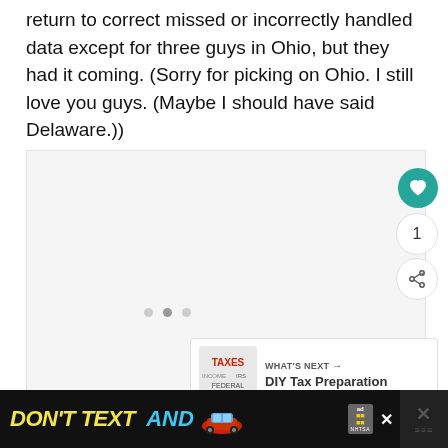return to correct missed or incorrectly handled data except for three guys in Ohio, but they had it coming. (Sorry for picking on Ohio. I still love you guys. (Maybe I should have said Delaware.))
[Figure (screenshot): Embedded media/video area with heart button (1 like), share button, three dot navigation indicators, and a 'What's Next' recommendation thumbnail for DIY Tax Preparation]
[Figure (infographic): Ad banner: DON'T TEXT AND [car emoji] with NHTSA branding on black background]